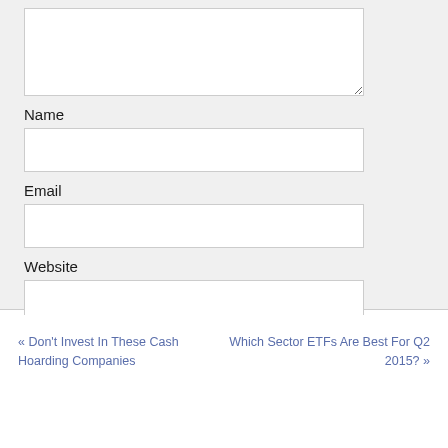[Figure (screenshot): Comment form with textarea (partially visible at top), Name field, Email field, Website field, and POST COMMENT button on a light gray background]
Name
Email
Website
POST COMMENT
« Don't Invest In These Cash Hoarding Companies
Which Sector ETFs Are Best For Q2 2015? »